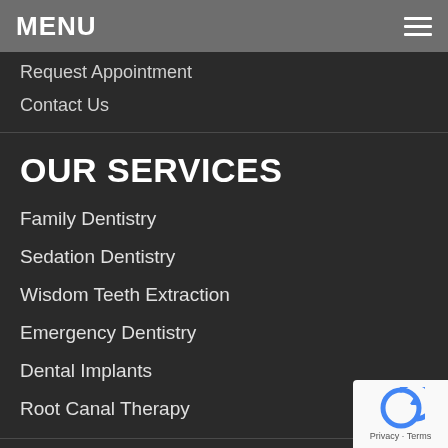MENU
Request Appointment
Contact Us
OUR SERVICES
Family Dentistry
Sedation Dentistry
Wisdom Teeth Extraction
Emergency Dentistry
Dental Implants
Root Canal Therapy
[Figure (logo): reCAPTCHA badge with blue arrow logo and Privacy - Terms text]